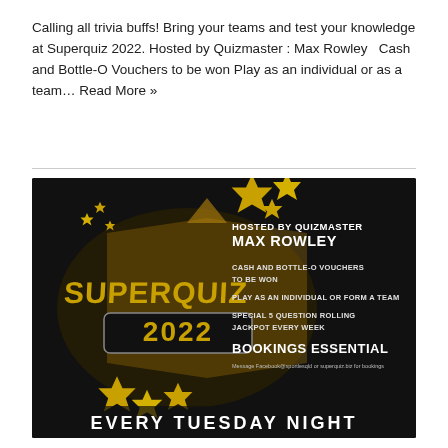Calling all trivia buffs! Bring your teams and test your knowledge at Superquiz 2022. Hosted by Quizmaster : Max Rowley   Cash and Bottle-O Vouchers to be won Play as an individual or as a team… Read More »
[Figure (infographic): Superquiz 2022 promotional banner with dark background and gold stars. Text: HOSTED BY QUIZMASTER MAX ROWLEY, CASH AND BOTTLE-O VOUCHERS TO BE WON, PLAY AS AN INDIVIDUAL OR FORM A TEAM, SPECIAL 5 QUESTION ROLLING JACKPOT EVERY WEEK, BOOKINGS ESSENTIAL, EVERY TUESDAY NIGHT. Central logo shows SUPERQUIZ 2022 in gold lettering.]